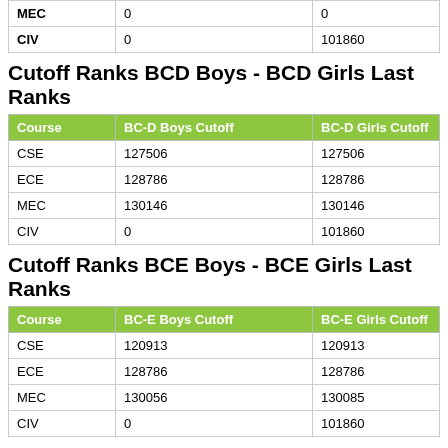| MEC | 0 | 0 |
| CIV | 0 | 101860 |
Cutoff Ranks BCD Boys - BCD Girls Last Ranks
| Course | BC-D Boys Cutoff | BC-D Girls Cutoff |
| --- | --- | --- |
| CSE | 127506 | 127506 |
| ECE | 128786 | 128786 |
| MEC | 130146 | 130146 |
| CIV | 0 | 101860 |
Cutoff Ranks BCE Boys - BCE Girls Last Ranks
| Course | BC-E Boys Cutoff | BC-E Girls Cutoff |
| --- | --- | --- |
| CSE | 120913 | 120913 |
| ECE | 128786 | 128786 |
| MEC | 130056 | 130085 |
| CIV | 0 | 101860 |
AP Eamcet Colleges EWS cutoff Ranks
Note about Last Ranks:
1.For MBBS/BDS approximate state ranks given